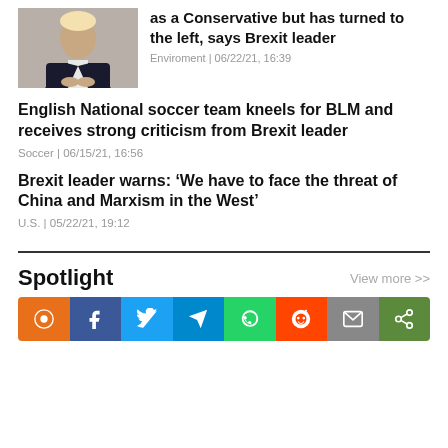[Figure (photo): Photo of a man in a suit, seated, with hands clasped]
as a Conservative but has turned to the left, says Brexit leader
Enviroment | 06/22/21, 16:39
English National soccer team kneels for BLM and receives strong criticism from Brexit leader
Soccer | 06/15/21, 16:56
Brexit leader warns: ‘We have to face the threat of China and Marxism in the West’
U.S. | 05/22/21, 19:12
Spotlight
View more >>
[Figure (other): Social media share buttons row: Pinterest, Facebook, Twitter, Telegram, WhatsApp, Reddit, Email, Share]